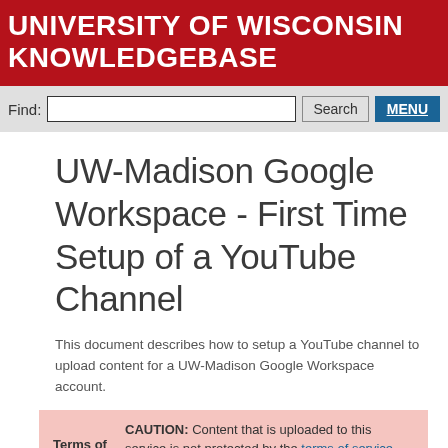UNIVERSITY OF WISCONSIN KNOWLEDGEBASE
Find: [search box] Search MENU
UW-Madison Google Workspace - First Time Setup of a YouTube Channel
This document describes how to setup a YouTube channel to upload content for a UW-Madison Google Workspace account.
CAUTION: Content that is uploaded to this service is not protected by the terms of service that